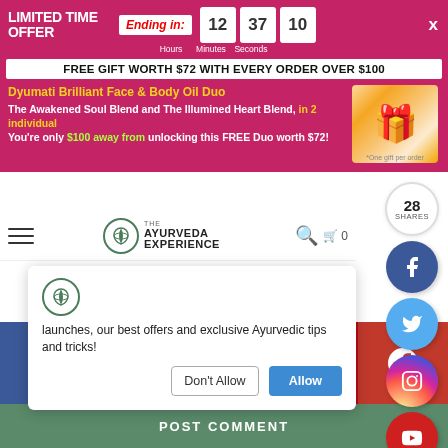LIMITED TIME OFFER
Ending in: 12 Hours 37 Minutes 10 Seconds
FREE GIFT WORTH $72 WITH EVERY ORDER OVER $100
Dyumati Brilliant Face & Body Oil Duo The Awakened Soul Blend and The Illumined Heart Blend, in 2 individual You're only $100 away from unlocking this FREE Duo worth $72!
[Figure (photo): Gift box with bottles of oil products with a red bow]
*One gift per order
[Figure (logo): The Ayurveda Experience logo]
launches, our best offers and exclusive Ayurvedic tips and tricks!
Don't Allow
Allow
28 SHARES
[Figure (infographic): Social media share buttons: Facebook (blue), Twitter (light blue), Instagram (gradient), YouTube (red), Pinterest (red)]
[Figure (infographic): Bottom share bar with Facebook, Twitter, WhatsApp, Pinterest, Messenger icons]
POST COMMENT